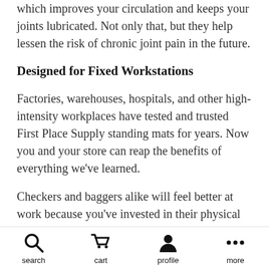which improves your circulation and keeps your joints lubricated. Not only that, but they help lessen the risk of chronic joint pain in the future.
Designed for Fixed Workstations
Factories, warehouses, hospitals, and other high-intensity workplaces have tested and trusted First Place Supply standing mats for years. Now you and your store can reap the benefits of everything we've learned.
Checkers and baggers alike will feel better at work because you've invested in their physical health and well-being.
search  cart  profile  more